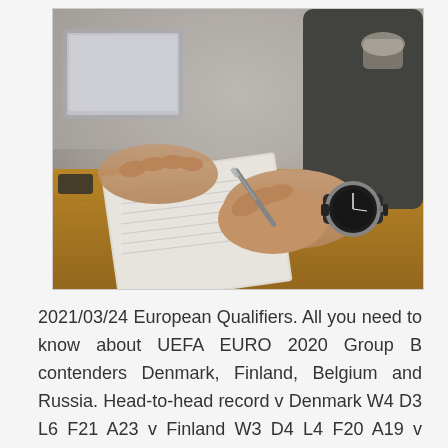[Figure (photo): A person writing in a notebook on a wooden desk with a laptop in the background. The person is wearing a watch and holding a pen.]
2021/03/24 European Qualifiers. All you need to know about UEFA EURO 2020 Group B contenders Denmark, Finland, Belgium and Russia. Head-to-head record v Denmark W4 D3 L6 F21 A23 v Finland W3 D4 L4 F20 A19 v Russia W6 D2 L4 Denmark begins its Euro 2020